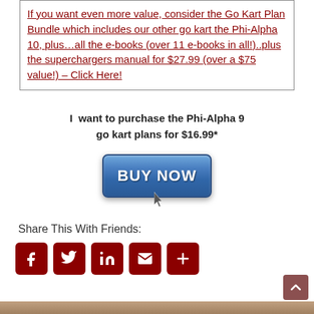If you want even more value, consider the Go Kart Plan Bundle which includes our other go kart the Phi-Alpha 10, plus…all the e-books (over 11 e-books in all!)..plus the superchargers manual for $27.99 (over a $75 value!) – Click Here!
I  want to purchase the Phi-Alpha 9 go kart plans for $16.99*
[Figure (other): Blue BUY NOW button with cursor icon below it]
Share This With Friends:
[Figure (other): Social share icons: Facebook, Twitter, LinkedIn, Email, More (plus sign) — dark red rounded square buttons]